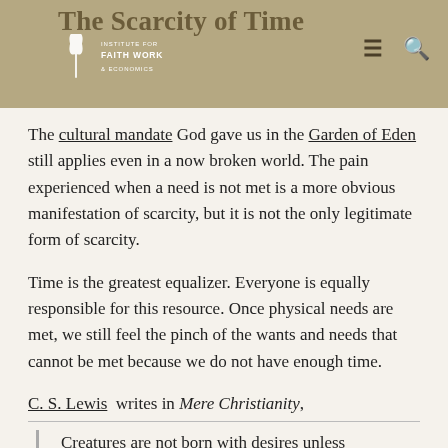The Scarcity of Time — Institute for Faith Work & Economics
The cultural mandate God gave us in the Garden of Eden still applies even in a now broken world. The pain experienced when a need is not met is a more obvious manifestation of scarcity, but it is not the only legitimate form of scarcity.
Time is the greatest equalizer. Everyone is equally responsible for this resource. Once physical needs are met, we still feel the pinch of the wants and needs that cannot be met because we do not have enough time.
C. S. Lewis writes in Mere Christianity,
Creatures are not born with desires unless